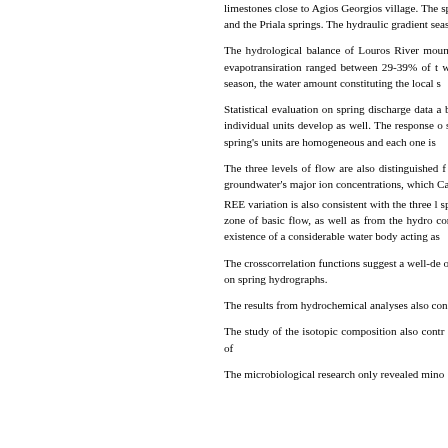limestones close to Agios Georgios village. The spring although the hydraulic load distributions and the Priala springs. The hydraulic gradient season ranges from 2 m at the South to 15-20 m
The hydrological balance of Louros River moun the years 2008-2010 ranged between 5.67E evapotransiration ranged between 29-39% of t whereas the basic flow due to the percolation season, the water amount constituting the local s
Statistical evaluation on spring discharge data a basin coinciding to the upper, intermediate an individual units develop as well. The response o storage of large quantities of water and a well spring's units are homogeneous and each one is
The three levels of flow are also distinguished f water to the adjacent ones in the middle par groundwater's major ion concentrations, which Ca-HCO3-Cl-SO4 water-type in the middle part. REE variation is also consistent with the three l spring karstic units, as pointed out by autocorre zone of basic flow, as well as from the hydro composition revealed minor variations of hydro existence of a considerable water body acting as
The crosscorrelation functions suggest a well-de observations. The same conclusion is extracted on spring hydrographs.
The results from hydrochemical analyses also confirmed the hydraulic relationships between s
The study of the isotopic composition also contr origin of groundwater and revealed the effect of
The microbiological research only revealed mino